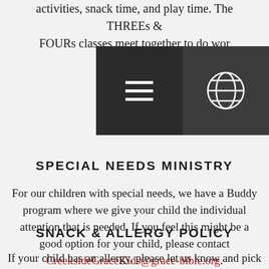activities, snack time, and play time. The THREEs & FOURs classes meet together to do wor[ship in a] group setting.
[Figure (other): Navigation overlay with hamburger menu icon (three white horizontal lines on dark background) and globe/world icon on dark background]
SPECIAL NEEDS MINISTRY
For our children with special needs, we have a Buddy program where we give your child the individual attention that is needed. If you feel this might be a good option for your child, please contact CreeksideGraceKids@grace-bible.org.
SNACK & ALLERGY POLICY
If your child has an allergy, please let us know and pick up a yellow allergy bracelet from the check-in area for